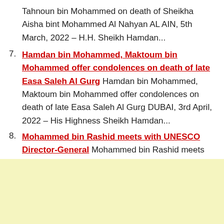Tahnoun bin Mohammed on death of Sheikha Aisha bint Mohammed Al Nahyan AL AIN, 5th March, 2022 – H.H. Sheikh Hamdan...
7. Hamdan bin Mohammed, Maktoum bin Mohammed offer condolences on death of late Easa Saleh Al Gurg Hamdan bin Mohammed, Maktoum bin Mohammed offer condolences on death of late Easa Saleh Al Gurg DUBAI, 3rd April, 2022 – His Highness Sheikh Hamdan...
8. Mohammed bin Rashid meets with UNESCO Director-General Mohammed bin Rashid meets with UNESCO Director-General DUBAI, 7th December, 2021 – His Highness Sheikh Mohammed bin Rashid Al Maktoum...
[Figure (other): Light yellow advertisement or banner area at the bottom of the page]